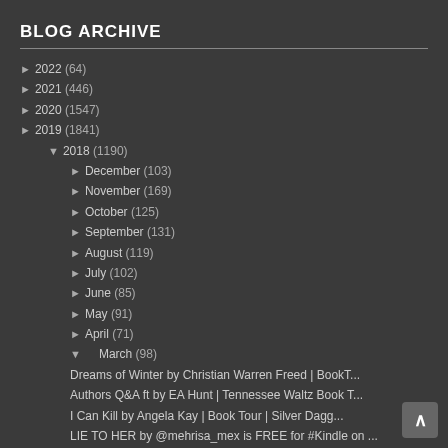BLOG ARCHIVE
► 2022 (64)
► 2021 (446)
► 2020 (1547)
► 2019 (1841)
▼ 2018 (1190)
► December (103)
► November (169)
► October (125)
► September (131)
► August (119)
► July (102)
► June (85)
► May (91)
► April (71)
▼ March (98)
Dreams of Winter by Christian Warren Freed | BookT...
Authors Q&A ft by EA Hunt | Tennessee Waltz Book T...
I Can Kill by Angela Kay | Book Tour | Silver Dagg...
LIE TO HER by @mehrisa_mex is FREE for #Kindle on ...
Reason To Die by Debbie De Louise | Book Tour | S...
Read an excerpt of LIE TO HER by Mehrisa Mex | Go...